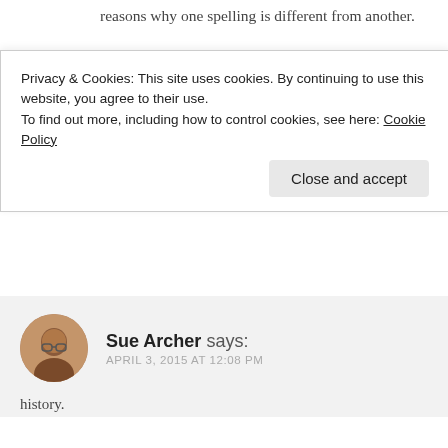reasons why one spelling is different from another.
~Patricia Lynne aka Patricia Josephine~
Member of C. Lee's Muffin Commando Squad
Story Dam
Patricia Lynne, Indie Author
★ Liked by 1 person
REPLY
Sue Archer says:
APRIL 3, 2015 AT 12:08 PM
history.
Privacy & Cookies: This site uses cookies. By continuing to use this website, you agree to their use.
To find out more, including how to control cookies, see here: Cookie Policy
Close and accept